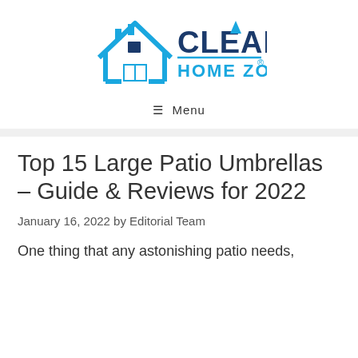[Figure (logo): Clean Home Zone logo — house icon in blue with CLEAN HOME ZONE text in dark navy and blue]
≡ Menu
Top 15 Large Patio Umbrellas – Guide & Reviews for 2022
January 16, 2022 by Editorial Team
One thing that any astonishing patio needs,